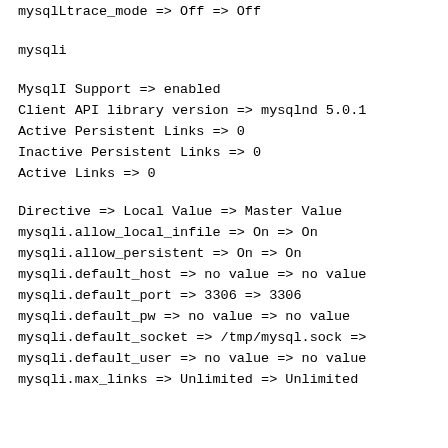mysqlLtrace_mode => Off => Off
mysqli
MysqlI Support => enabled
Client API library version => mysqlnd 5.0.1
Active Persistent Links => 0
Inactive Persistent Links => 0
Active Links => 0
Directive => Local Value => Master Value
mysqli.allow_local_infile => On => On
mysqli.allow_persistent => On => On
mysqli.default_host => no value => no value
mysqli.default_port => 3306 => 3306
mysqli.default_pw => no value => no value
mysqli.default_socket => /tmp/mysql.sock =>
mysqli.default_user => no value => no value
mysqli.max_links => Unlimited => Unlimited